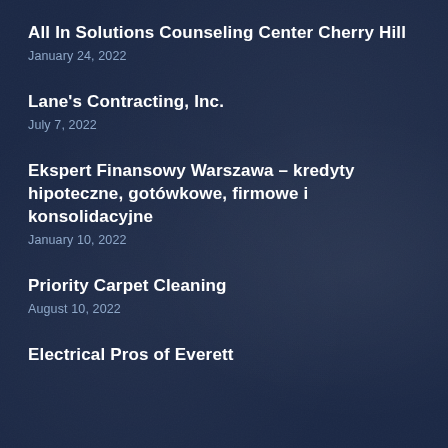All In Solutions Counseling Center Cherry Hill
January 24, 2022
Lane's Contracting, Inc.
July 7, 2022
Ekspert Finansowy Warszawa – kredyty hipoteczne, gotówkowe, firmowe i konsolidacyjne
January 10, 2022
Priority Carpet Cleaning
August 10, 2022
Electrical Pros of Everett